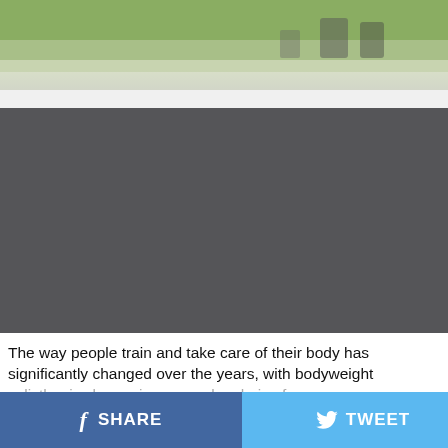[Figure (photo): Outdoor photo showing people near greenery, partially visible at top of page]
[Figure (photo): Dark gray video placeholder block]
The way people train and take care of their body has significantly changed over the years, with bodyweight calisthenics becoming a popular choice for many.
SHARE   TWEET   ...